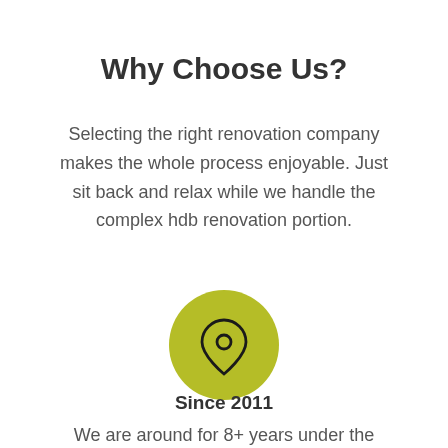Why Choose Us?
Selecting the right renovation company makes the whole process enjoyable. Just sit back and relax while we handle the complex hdb renovation portion.
[Figure (illustration): A yellow-green circular icon containing a map pin / location marker drawn in black outline style.]
Since 2011
We are around for 8+ years under the